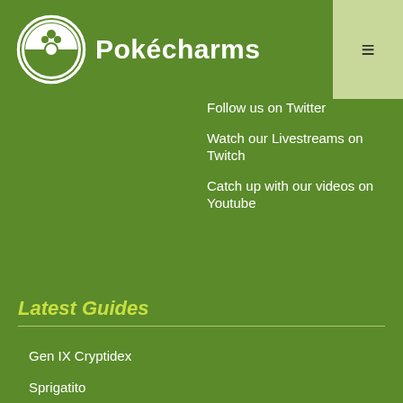Pokécharms
Follow us on Twitter
Watch our Livestreams on Twitch
Catch up with our videos on Youtube
Latest Guides
Gen IX Cryptidex
Sprigatito
Fuecoco
Quaxly
Pokémon Legends Arceus